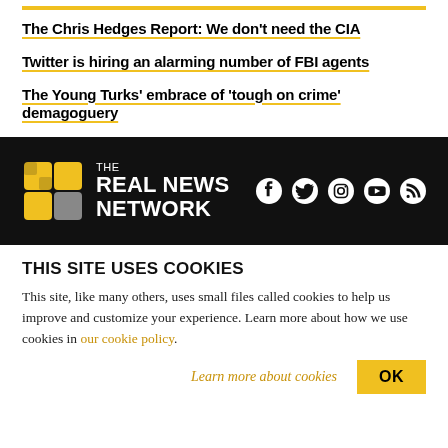The Chris Hedges Report: We don't need the CIA
Twitter is hiring an alarming number of FBI agents
The Young Turks' embrace of 'tough on crime' demagoguery
[Figure (logo): The Real News Network logo with yellow grid icon and white text on black background, with social media icons (Facebook, Twitter, Instagram, YouTube, RSS)]
THIS SITE USES COOKIES
This site, like many others, uses small files called cookies to help us improve and customize your experience. Learn more about how we use cookies in our cookie policy.
Learn more about cookies   OK